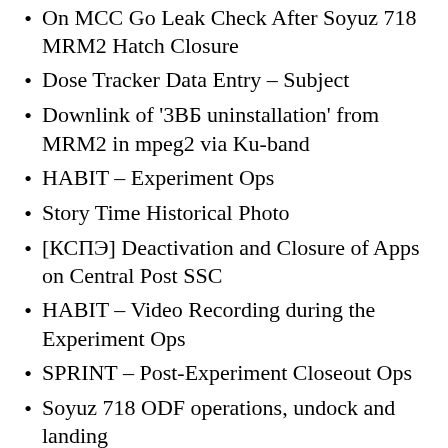On MCC Go Leak Check After Soyuz 718 MRM2 Hatch Closure
Dose Tracker Data Entry – Subject
Downlink of '3ВБ uninstallation' from MRM2 in mpeg2 via Ku-band
HABIT – Experiment Ops
Story Time Historical Photo
[КСПЭ] Deactivation and Closure of Apps on Central Post SSC
HABIT – Video Recording during the Experiment Ops
SPRINT – Post-Experiment Closeout Ops
Soyuz 718 ODF operations, undock and landing
On MCC Go Post-deactivation ELEKTRON purge
On MCC Go Switch DC-Soyuz REV (КВД) in